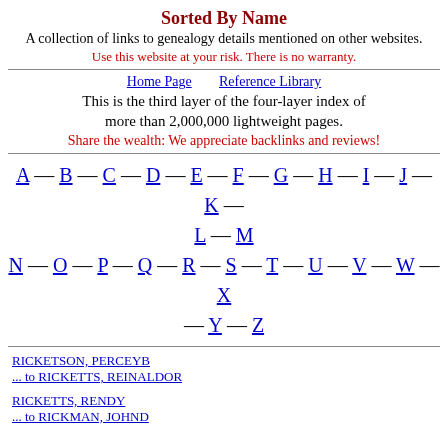Sorted By Name
A collection of links to genealogy details mentioned on other websites.
Use this website at your risk. There is no warranty.
Home Page    Reference Library
This is the third layer of the four-layer index of more than 2,000,000 lightweight pages.
Share the wealth: We appreciate backlinks and reviews!
A — B — C — D — E — F — G — H — I — J — K — L — M — N — O — P — Q — R — S — T — U — V — W — X — Y — Z
RICKETSON, PERCEYB ... to RICKETTS, REINALDOR
RICKETTS, RENDY ... to RICKMAN, JOHND